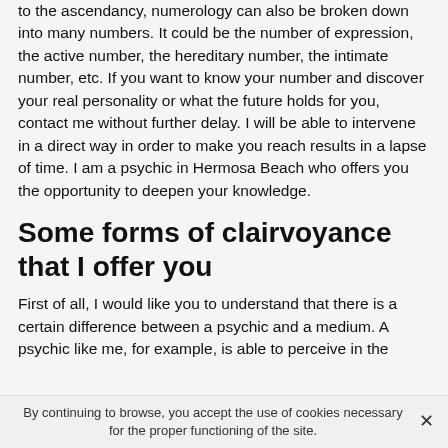to the ascendancy, numerology can also be broken down into many numbers. It could be the number of expression, the active number, the hereditary number, the intimate number, etc. If you want to know your number and discover your real personality or what the future holds for you, contact me without further delay. I will be able to intervene in a direct way in order to make you reach results in a lapse of time. I am a psychic in Hermosa Beach who offers you the opportunity to deepen your knowledge.
Some forms of clairvoyance that I offer you
First of all, I would like you to understand that there is a certain difference between a psychic and a medium. A psychic like me, for example, is able to perceive in the
By continuing to browse, you accept the use of cookies necessary for the proper functioning of the site.